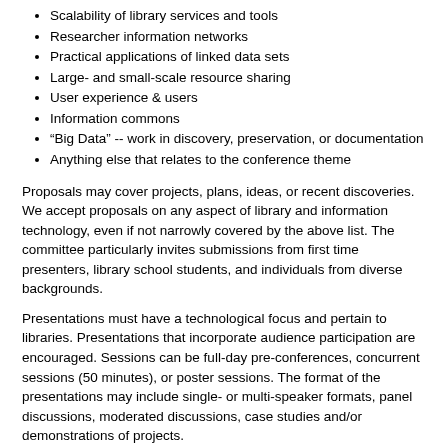Scalability of library services and tools
Researcher information networks
Practical applications of linked data sets
Large- and small-scale resource sharing
User experience & users
Information commons
“Big Data” -- work in discovery, preservation, or documentation
Anything else that relates to the conference theme
Proposals may cover projects, plans, ideas, or recent discoveries. We accept proposals on any aspect of library and information technology, even if not narrowly covered by the above list. The committee particularly invites submissions from first time presenters, library school students, and individuals from diverse backgrounds.
Presentations must have a technological focus and pertain to libraries. Presentations that incorporate audience participation are encouraged. Sessions can be full-day pre-conferences, concurrent sessions (50 minutes), or poster sessions. The format of the presentations may include single- or multi-speaker formats, panel discussions, moderated discussions, case studies and/or demonstrations of projects.
Vendors wishing to submit a proposal should partner with a library representative who is testing/using the product.
Presenters will submit draft presentation slides and/or handouts on ALA Connect in advance of the Forum and will submit final presentation slides or electronic content (video, audio, etc.) to be made available on the web site following the event. Presenters are expected to register and participate